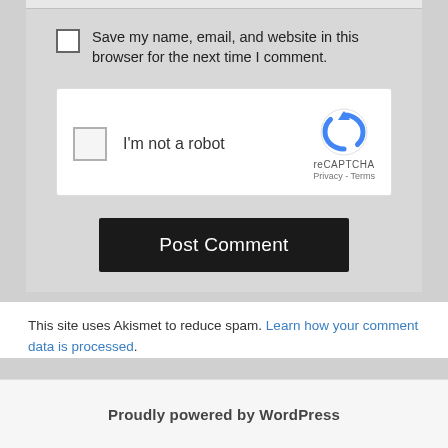Save my name, email, and website in this browser for the next time I comment.
[Figure (other): reCAPTCHA widget with checkbox labeled 'I'm not a robot' and reCAPTCHA logo with Privacy and Terms links]
Post Comment
This site uses Akismet to reduce spam. Learn how your comment data is processed.
Proudly powered by WordPress